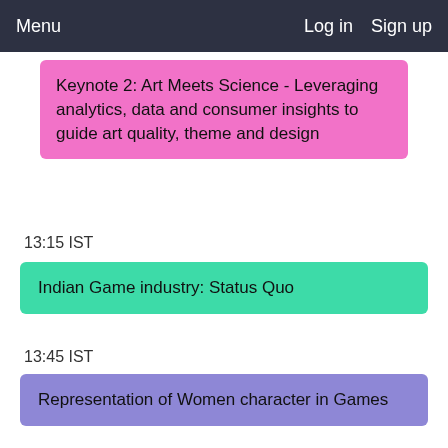Menu   Log in   Sign up
Keynote 2: Art Meets Science - Leveraging analytics, data and consumer insights to guide art quality, theme and design
13:15 IST
Indian Game industry: Status Quo
13:45 IST
Representation of Women character in Games
14:00 IST